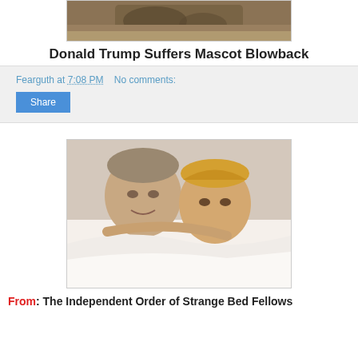[Figure (photo): Partial photo of an animal (elephant?) from the top, cropped at top]
Donald Trump Suffers Mascot Blowback
Fearguth at 7:08 PM    No comments:
Share
[Figure (photo): Photomontage showing Putin's face and Trump's face in a sleeping/cuddling pose under white blankets]
From: The Independent Order of Strange Bed Fellows